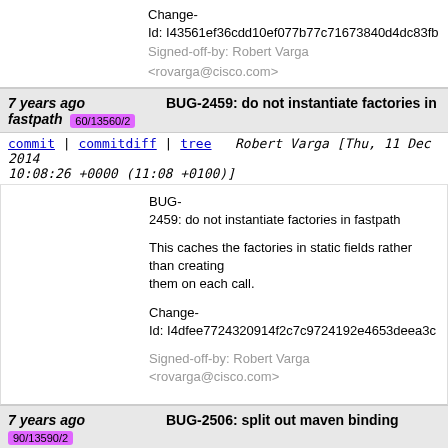Change-Id: I43561ef36cdd10ef077b77c71673840d4dc83fb
Signed-off-by: Robert Varga <rovarga@cisco.com>
7 years ago fastpath [60/13560/2] BUG-2459: do not instantiate factories in
commit | commitdiff | tree   Robert Varga [Thu, 11 Dec 2014 10:08:26 +0000 (11:08 +0100)]
BUG-2459: do not instantiate factories in fastpath

This caches the factories in static fields rather than creating them on each call.

Change-Id: I4dfee7724320914f2c7c9724192e4653deea3c
Signed-off-by: Robert Varga <rovarga@cisco.com>
7 years ago 90/13590/2 BUG-2506: split out maven binding
commit | commitdiff | tree   Robert Varga [Fri, 12 Dec 2014 11:07:45 +0000 (12:07 +0100)]
BUG-2506: split out maven binding

Maven integration needs to be split out of the runtime